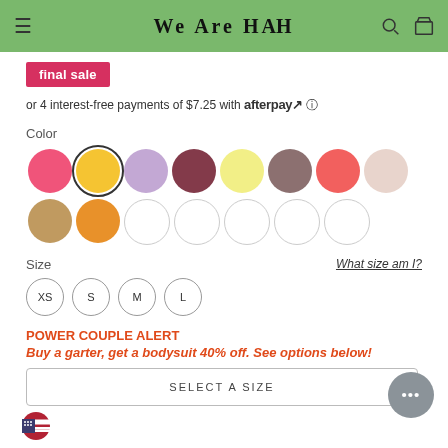We Are HAH
final sale
or 4 interest-free payments of $7.25 with afterpay
Color
[Figure (other): Color swatches grid: row 1 - hot pink, yellow (selected), lavender, dark red/burgundy, light yellow, mauve/taupe, coral/salmon, dusty rose; row 2 - tan/khaki, orange, and 5 empty/white swatches]
Size
What size am I?
XS  S  M  L
POWER COUPLE ALERT
Buy a garter, get a bodysuit 40% off. See options below!
SELECT A SIZE